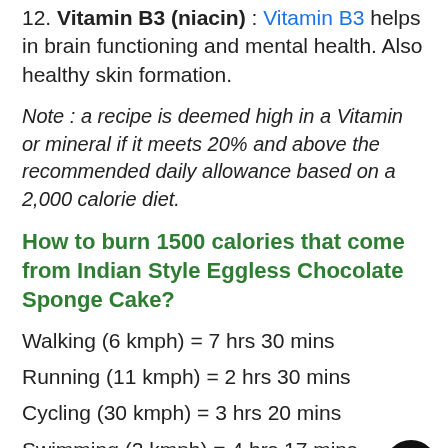12. Vitamin B3 (niacin) : Vitamin B3 helps in brain functioning and mental health. Also healthy skin formation.
Note : a recipe is deemed high in a Vitamin or mineral if it meets 20% and above the recommended daily allowance based on a 2,000 calorie diet.
How to burn 1500 calories that come from Indian Style Eggless Chocolate Sponge Cake?
Walking (6 kmph) = 7 hrs 30 mins
Running (11 kmph) = 2 hrs 30 mins
Cycling (30 kmph) = 3 hrs 20 mins
Swimming (2 kmph) = 4 hrs 17 mins